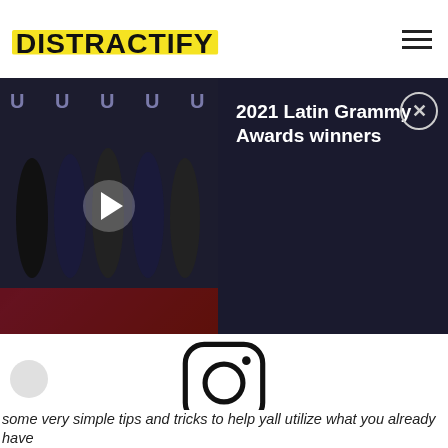Distractify
[Figure (screenshot): Video player showing group of men in suits at what appears to be Latin Grammy Awards red carpet, with play button overlay]
2021 Latin Grammy Awards winners
[Figure (logo): Instagram logo icon (camera outline)]
View this post on Instagram
some very simple tips and tricks to help yall utilize what you already have